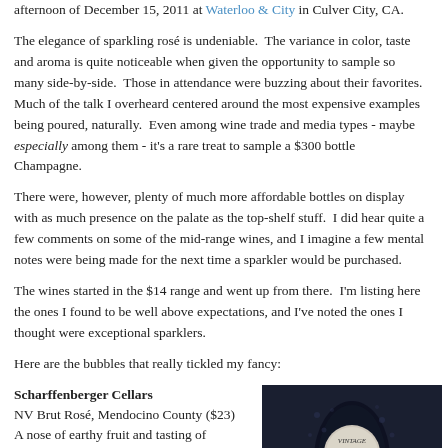afternoon of December 15, 2011 at Waterloo & City in Culver City, CA.
The elegance of sparkling rosé is undeniable. The variance in color, taste and aroma is quite noticeable when given the opportunity to sample so many side-by-side. Those in attendance were buzzing about their favorites. Much of the talk I overheard centered around the most expensive examples being poured, naturally. Even among wine trade and media types - maybe especially among them - it's a rare treat to sample a $300 bottle Champagne.
There were, however, plenty of much more affordable bottles on display with as much presence on the palate as the top-shelf stuff. I did hear quite a few comments on some of the mid-range wines, and I imagine a few mental notes were being made for the next time a sparkler would be purchased.
The wines started in the $14 range and went up from there. I'm listing here the ones I found to be well above expectations, and I've noted the ones I thought were exceptional sparklers.
Here are the bubbles that really tickled my fancy:
Scharffenberger Cellars
NV Brut Rosé, Mendocino County ($23)
A nose of earthy fruit and tasting of minerals and orange peel, this was possibly the best value in the room. Great finish.
Exceptional. Best value.
[Figure (photo): Close-up photo of a dark wine bottle with a circular label reading VINTAGE 2003 Rosé, placed on what appears to be photobucket watermarked background]
Roederer Estate